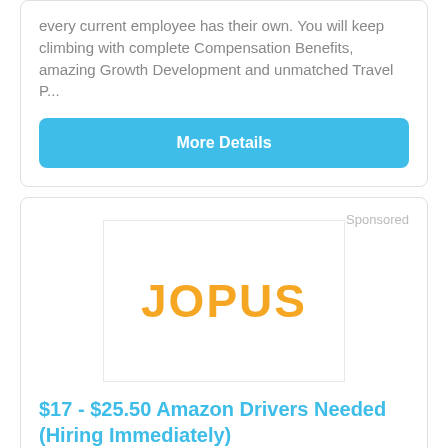every current employee has their own. You will keep climbing with complete Compensation Benefits, amazing Growth Development and unmatched Travel P...
More Details
Sponsored
[Figure (logo): JOPUS logo in orange bold text on white background with light border]
$17 - $25.50 Amazon Drivers Needed (Hiring Immediately)
Amazon.ExpertJobMatch.com/DriverJob
Limited Openings. Full/Part Time Jobs Available +